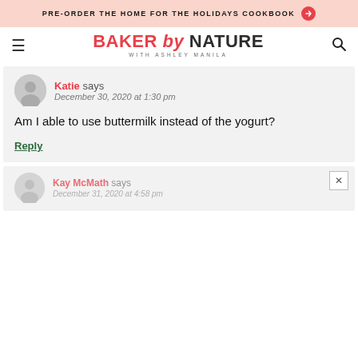PRE-ORDER THE HOME FOR THE HOLIDAYS COOKBOOK
[Figure (logo): Baker by Nature with Ashley Manila logo]
Katie says
December 30, 2020 at 1:30 pm

Am I able to use buttermilk instead of the yogurt?

Reply
Kay McMath says
December 31, 2020 at 4:58 pm